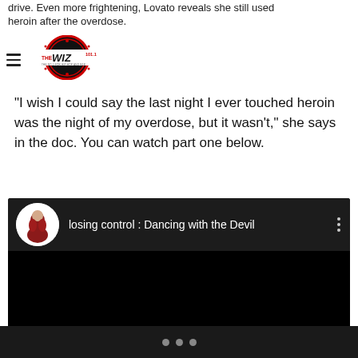drive. Even more frightening, Lovato reveals she still used heroin after the overdose.
[Figure (logo): The Wiz 101.1 radio station logo - circular red and black logo with THE WIZ text]
"I wish I could say the last night I ever touched heroin was the night of my overdose, but it wasn't," she says in the doc. You can watch part one below.
[Figure (screenshot): YouTube video embed showing 'losing control : Dancing with the Devil' with a circular avatar thumbnail of a person in red clothing on a dark background]
• • •